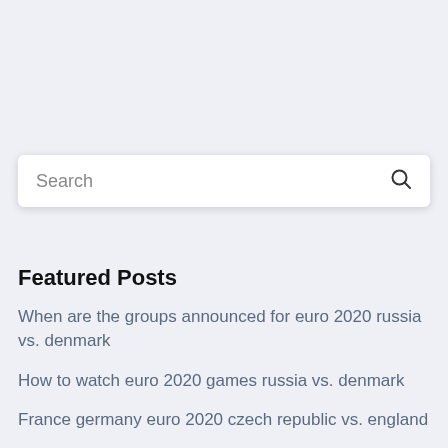[Figure (screenshot): Search bar with placeholder text 'Search' and a magnifying glass icon on right, on a light blue-grey background]
Featured Posts
When are the groups announced for euro 2020 russia vs. denmark
How to watch euro 2020 games russia vs. denmark
France germany euro 2020 czech republic vs. england
Tirage au sort euro 2020 ukraine netherlands vs.